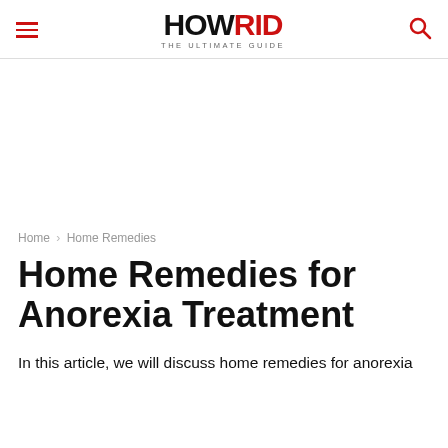HOWRID THE ULTIMATE GUIDE
Home › Home Remedies
Home Remedies for Anorexia Treatment
In this article, we will discuss home remedies for anorexia